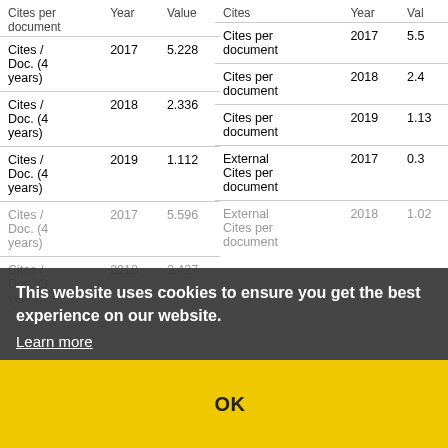| Cites per document | Year | Value per document: |
| --- | --- | --- |
| Cites / Doc. (4 years) | 2017 | 5.228 |
| Cites / Doc. (4 years) | 2018 | 2.336 |
| Cites / Doc. (4 years) | 2019 | 1.112 |
| Cites / Doc. (4 years) | 2017 | 5.596 |
| Cites / Doc. (3 years) | 2018 | 2.427 |
| Cites | Year | Val |
| --- | --- | --- |
| Cites per document | 2017 | 5.5 |
| Cites per document | 2018 | 2.4 |
| Cites per document | 2019 | 1.13 |
| External Cites per document | 2017 | 0.3 |
| External Cites per document | 2018 | 1.02 |
| External Cites per document | 2018 | 1.0 |
This website uses cookies to ensure you get the best experience on our website. Learn more